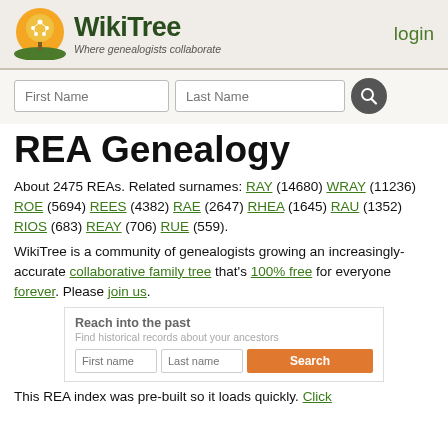WikiTree — Where genealogists collaborate | login
REA Genealogy
About 2475 REAs. Related surnames: RAY (14680) WRAY (11236) ROE (5694) REES (4382) RAE (2647) RHEA (1645) RAU (1352) RIOS (683) REAY (706) RUE (559).
WikiTree is a community of genealogists growing an increasingly-accurate collaborative family tree that's 100% free for everyone forever. Please join us.
[Figure (infographic): Ancestry search widget: 'Reach into the past — Find historical records about your ancestors' with First name, Last name inputs and Search button]
This REA index was pre-built so it loads quickly. Click